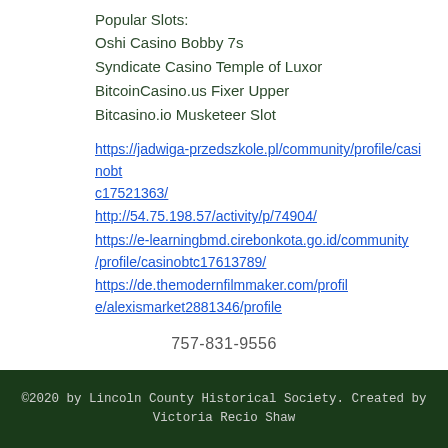Popular Slots:
Oshi Casino Bobby 7s
Syndicate Casino Temple of Luxor
BitcoinCasino.us Fixer Upper
Bitcasino.io Musketeer Slot
https://jadwiga-przedszkole.pl/community/profile/casinobtc17521363/
http://54.75.198.57/activity/p/74904/
https://e-learningbmd.cirebonkota.go.id/community/profile/casinobtc17613789/
https://de.themodernfilmmaker.com/profile/alexismarket2881346/profile
757-831-9556
©2020 by Lincoln County Historical Society. Created by Victoria Recio Shaw